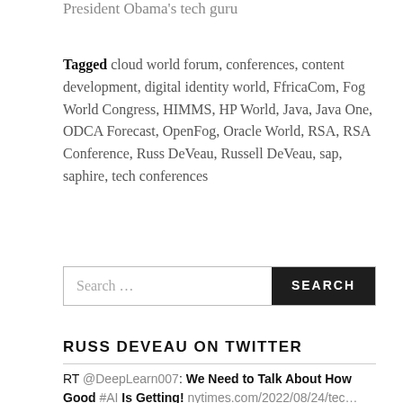President Obama's tech guru
Tagged cloud world forum, conferences, content development, digital identity world, FfricaCom, Fog World Congress, HIMMS, HP World, Java, Java One, ODCA Forecast, OpenFog, Oracle World, RSA, RSA Conference, Russ DeVeau, Russell DeVeau, sap, saphire, tech conferences
Search ...
RUSS DEVEAU ON TWITTER
RT @DeepLearn007: We Need to Talk About How Good #AI Is Getting! nytimes.com/2022/08/24/tec... @pierrepinna @sallyeaves @Xbond49 @PawlowskiMario… 6 days ago